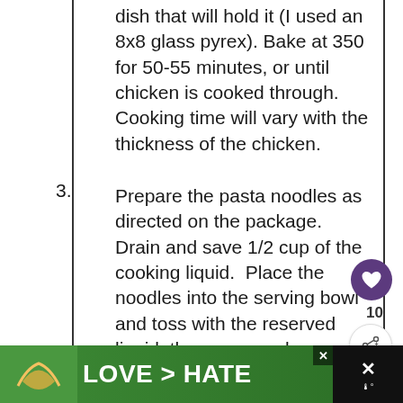dish that will hold it (I used an 8x8 glass pyrex). Bake at 350 for 50-55 minutes, or until chicken is cooked through.  Cooking time will vary with the thickness of the chicken.
3. Prepare the pasta noodles as directed on the package.  Drain and save 1/2 cup of the cooking liquid.  Place the noodles into the serving bowl and toss with the reserved liquid, the rosemary leaves and salt and pepper.
4. Prepare the sherry-simmered carrots.  Cut all the baby carrots in half, lengthwise.  In a large skillet, melt the butter and bro... sugar.  Add the lemon juice and dijo... mustard and combine.  Add the chopped
[Figure (screenshot): Ad banner showing hands forming heart shape with text LOVE > HATE on green background]